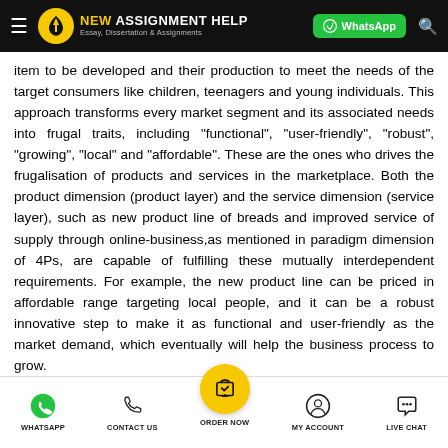NEW ASSIGNMENT HELP — Essay, Dissertation & Assignments
item to be developed and their production to meet the needs of the target consumers like children, teenagers and young individuals. This approach transforms every market segment and its associated needs into frugal traits, including "functional", "user-friendly", "robust", "growing", "local" and "affordable". These are the ones who drives the frugalisation of products and services in the marketplace. Both the product dimension (product layer) and the service dimension (service layer), such as new product line of breads and improved service of supply through online-business,as mentioned in paradigm dimension of 4Ps, are capable of fulfilling these mutually interdependent requirements. For example, the new product line can be priced in affordable range targeting local people, and it can be a robust innovative step to make it as functional and user-friendly as the market demand, which eventually will help the business process to grow.
WHATSAPP | CONTACT US | ORDER NOW | MY ACCOUNT | LIVE CHAT